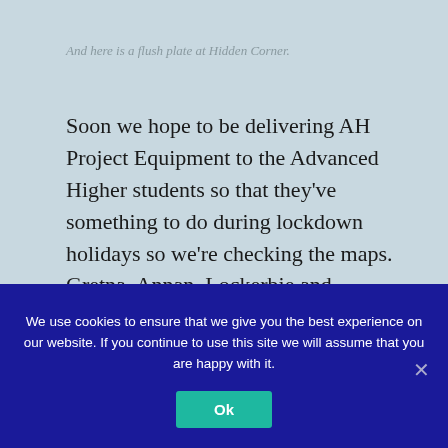And here is a flush plate at Hidden Corner.
Soon we hope to be delivering AH Project Equipment to the Advanced Higher students so that they’ve something to do during lockdown holidays so we’re checking the maps. Gretna, Annan, Lockerbie and Eaglesfield here we come!
20/7/20
[Figure (photo): Partially visible photo at bottom of page, showing two image segments side by side]
Just doing a dry run of
We use cookies to ensure that we give you the best experience on our website. If you continue to use this site we will assume that you are happy with it.